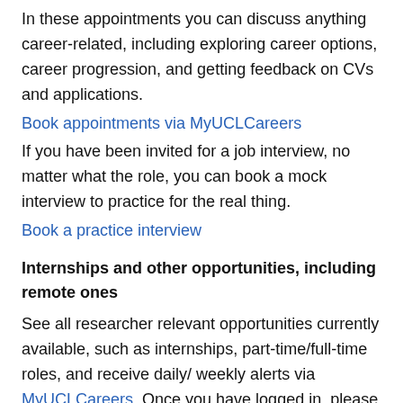In these appointments you can discuss anything career-related, including exploring career options, career progression, and getting feedback on CVs and applications.
Book appointments via MyUCLCareers
If you have been invited for a job interview, no matter what the role, you can book a mock interview to practice for the real thing.
Book a practice interview
Internships and other opportunities, including remote ones
See all researcher relevant opportunities currently available, such as internships, part-time/full-time roles, and receive daily/ weekly alerts via MyUCLCareers. Once you have logged in, please tick the box for researchers. This can be found as part of the menu on